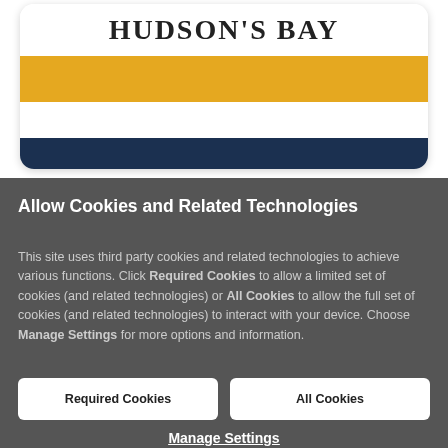[Figure (logo): Hudson's Bay logo card with company name and colored stripes (gold, white, navy)]
Allow Cookies and Related Technologies
This site uses third party cookies and related technologies to achieve various functions. Click Required Cookies to allow a limited set of cookies (and related technologies) or All Cookies to allow the full set of cookies (and related technologies) to interact with your device. Choose Manage Settings for more options and information.
Required Cookies
All Cookies
Manage Settings